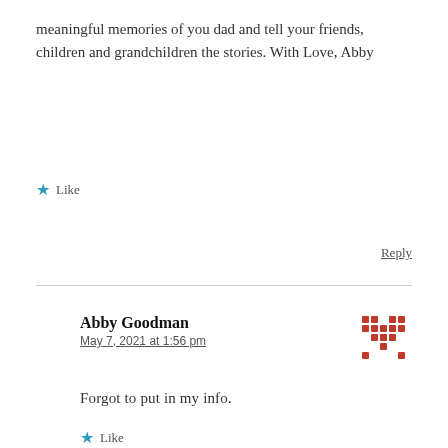meaningful memories of you dad and tell your friends, children and grandchildren the stories. With Love, Abby
Like
Reply
Abby Goodman
May 7, 2021 at 1:56 pm
[Figure (illustration): Pixel/mosaic style avatar icon with red/pink dots pattern]
Forgot to put in my info.
Like
Reply